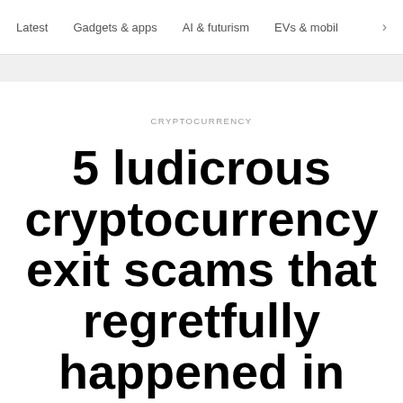Latest   Gadgets & apps   AI & futurism   EVs & mobil   >
CRYPTOCURRENCY
5 ludicrous cryptocurrency exit scams that regretfully happened in 2018